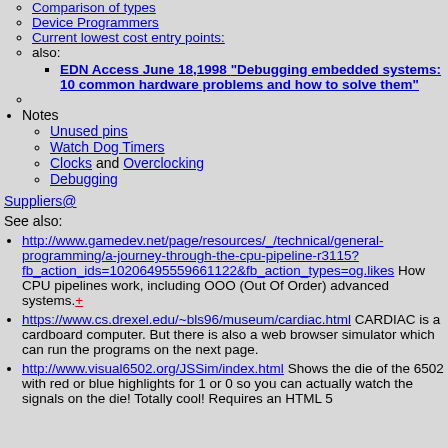Comparison of types
Device Programmers
Current lowest cost entry points:
also:
EDN Access June 18,1998 "Debugging embedded systems: 10 common hardware problems and how to solve them"
Notes
Unused pins
Watch Dog Timers
Clocks and Overclocking
Debugging
Suppliers@
See also:
http://www.gamedev.net/page/resources/_/technical/general-programming/a-journey-through-the-cpu-pipeline-r3115?fb_action_ids=10206495559661122&fb_action_types=og.likes How CPU pipelines work, including OOO (Out Of Order) advanced systems.+
https://www.cs.drexel.edu/~bls96/museum/cardiac.html CARDIAC is a cardboard computer. But there is also a web browser simulator which can run the programs on the next page.
http://www.visual6502.org/JSSim/index.html Shows the die of the 6502 with red or blue highlights for 1 or 0 so you can actually watch the signals on the die! Totally cool! Requires an HTML 5